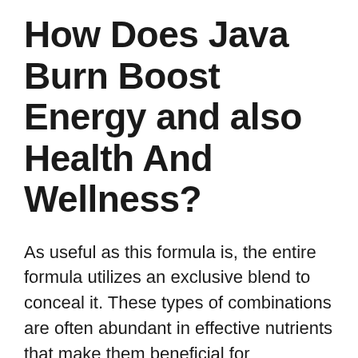How Does Java Burn Boost Energy and also Health And Wellness?
As useful as this formula is, the entire formula utilizes an exclusive blend to conceal it. These types of combinations are often abundant in effective nutrients that make them beneficial for individuals. The only disadvantage with these sorts of products is that individuals do not understand much regarding any type of active ingredient included in the formula. Instead, they base how this product works on the assumed advantages of each active ingredient's abilities.